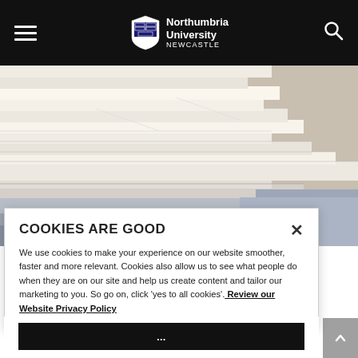Northumbria University NEWCASTLE
[Figure (photo): Stack of white and cream colored books or papers viewed from the side, close-up photograph]
COOKIES ARE GOOD
We use cookies to make your experience on our website smoother, faster and more relevant. Cookies also allow us to see what people do when they are on our site and help us create content and tailor our marketing to you. So go on, click 'yes to all cookies'. Review our Website Privacy Policy